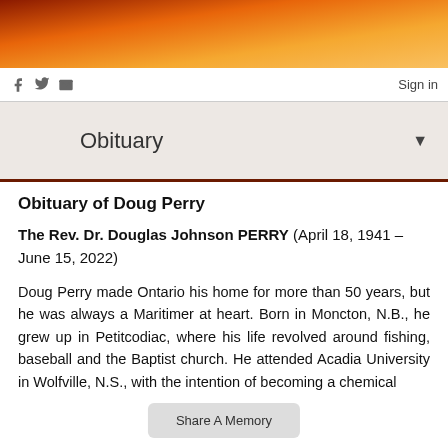[Figure (other): Gradient banner header in orange and red tones]
Sign in
Obituary
Obituary of Doug Perry
The Rev. Dr. Douglas Johnson PERRY (April 18, 1941 – June 15, 2022)
Doug Perry made Ontario his home for more than 50 years, but he was always a Maritimer at heart. Born in Moncton, N.B., he grew up in Petitcodiac, where his life revolved around fishing, baseball and the Baptist church. He attended Acadia University in Wolfville, N.S., with the intention of becoming a chemical engineer…
Share A Memory